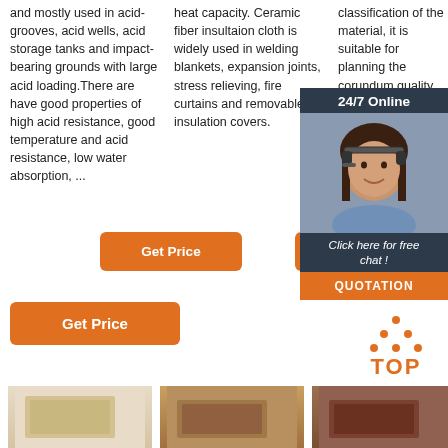and mostly used in acid-grooves, acid wells, acid storage tanks and impact-bearing grounds with large acid loading.There are have good properties of high acid resistance, good temperature and acid resistance, low water absorption, ...
heat capacity. Ceramic fiber insultaion cloth is widely used in welding blankets, expansion joints, stress relieving, fire curtains and removable insulation covers.
classification of the material, it is suitable for planning the corundum quality before the ste reinfor castab in larg kiln kil
[Figure (photo): Customer service representative with headset, chat popup overlay with '24/7 Online', 'Click here for free chat!', and QUOTATION button]
Get Price
Get
Get Price
[Figure (logo): TOP icon with orange dots above text]
[Figure (photo): Product image 1 - light colored brick/block]
[Figure (photo): Product image 2 - medium brown brick]
[Figure (photo): Product image 3 - dark brown brick]